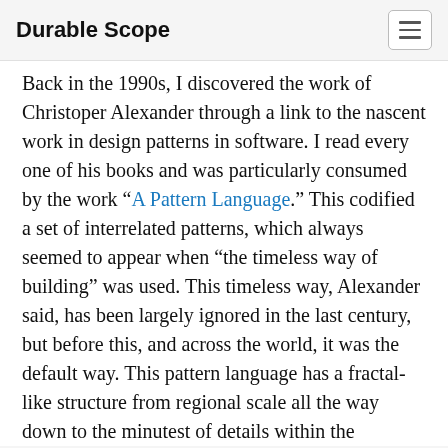Durable Scope
Back in the 1990s, I discovered the work of Christoper Alexander through a link to the nascent work in design patterns in software. I read every one of his books and was particularly consumed by the work “A Pattern Language.” This codified a set of interrelated patterns, which always seemed to appear when “the timeless way of building” was used. This timeless way, Alexander said, has been largely ignored in the last century, but before this, and across the world, it was the default way. This pattern language has a fractal-like structure from regional scale all the way down to the minutest of details within the